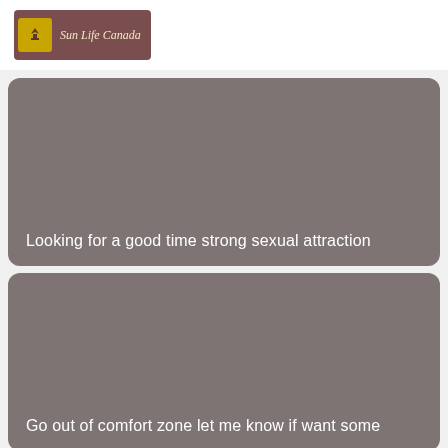[Figure (logo): Sun Life Canada logo with yellow icon on brownish-red background]
Looking for a good time strong sexual attraction
Go out of comfort zone let me know if want some